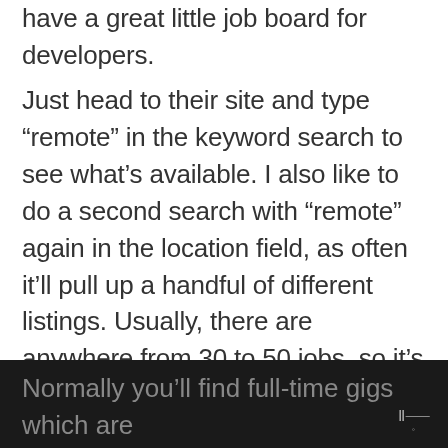have a great little job board for developers.
Just head to their site and type “remote” in the keyword search to see what’s available. I also like to do a second search with “remote” again in the location field, as often it’ll pull up a handful of different listings. Usually, there are anywhere from 30 to 50 jobs, so it’s easy to quickly scan through and see if there’s anything that suits.
Normally you’ll find full-time gigs which are targeted towards developers with a few years